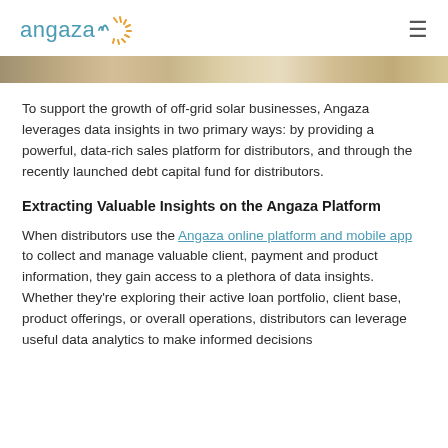angaza [logo]
[Figure (photo): Partial image strip showing outdoor scene, cropped at top]
To support the growth of off-grid solar businesses, Angaza leverages data insights in two primary ways: by providing a powerful, data-rich sales platform for distributors, and through the recently launched debt capital fund for distributors.
Extracting Valuable Insights on the Angaza Platform
When distributors use the Angaza online platform and mobile app to collect and manage valuable client, payment and product information, they gain access to a plethora of data insights. Whether they're exploring their active loan portfolio, client base, product offerings, or overall operations, distributors can leverage useful data analytics to make informed decisions